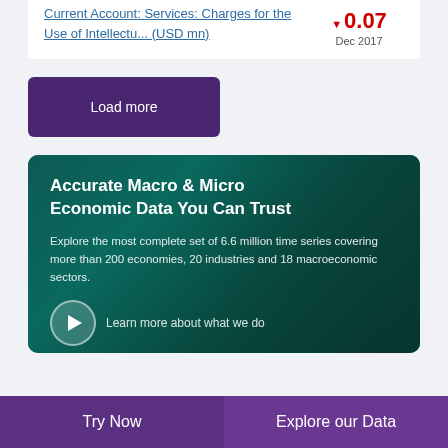Current Account: Services: Charges for the Use of Intellectu... (USD mn)
▼ 0.07
Dec 2017
Load more
Accurate Macro & Micro Economic Data You Can Trust
Explore the most complete set of 6.6 million time series covering more than 200 economies, 20 industries and 18 macroeconomic sectors.
Learn more about what we do
Try Now
Explore our Data